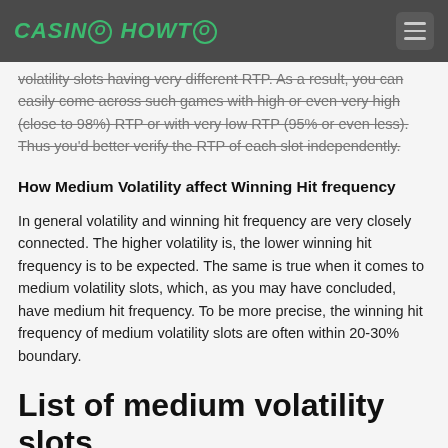CASINO HOWTO
volatility slots having very different RTP. As a result, you can easily come across such games with high or even very high (close to 98%) RTP or with very low RTP (95% or even less). Thus you'd better verify the RTP of each slot independently.
How Medium Volatility affect Winning Hit frequency
In general volatility and winning hit frequency are very closely connected. The higher volatility is, the lower winning hit frequency is to be expected. The same is true when it comes to medium volatility slots, which, as you may have concluded, have medium hit frequency. To be more precise, the winning hit frequency of medium volatility slots are often within 20-30% boundary.
List of medium volatility slots
Medium volatility slots, by their very nature, are games in which the frequency of winnings is balanced against their size. You should always the correct definition of the term. But